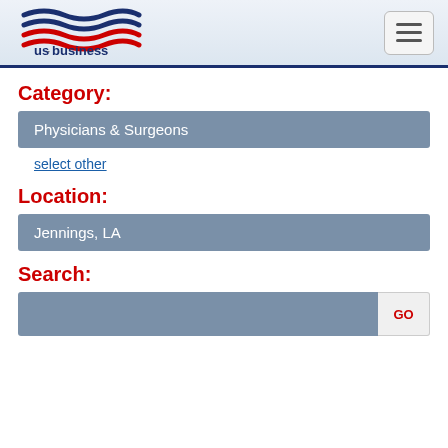[Figure (logo): us.business logo with American flag wave design in red, white, and blue]
Category:
Physicians & Surgeons
select other
Location:
Jennings, LA
Search:
GO